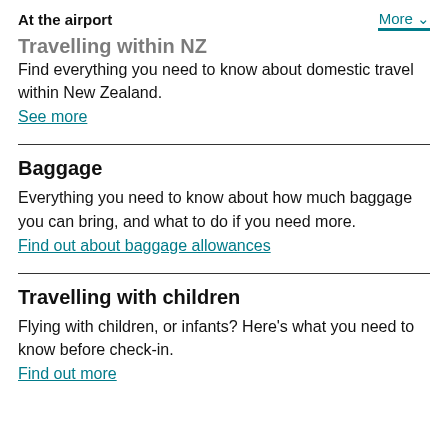At the airport    More
Travelling within NZ
Find everything you need to know about domestic travel within New Zealand.
See more
Baggage
Everything you need to know about how much baggage you can bring, and what to do if you need more.
Find out about baggage allowances
Travelling with children
Flying with children, or infants? Here's what you need to know before check-in.
Find out more